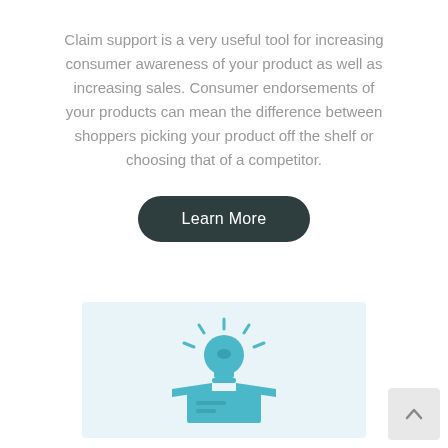Claim support is a very useful tool for increasing consumer awareness of your product as well as increasing sales. Consumer endorsements of your products can mean the difference between shoppers picking your product off the shelf or choosing that of a competitor.
[Figure (illustration): A dark rounded button labeled 'Learn More']
[Figure (illustration): A teal/light-blue icon of a glowing lightbulb above an open box, on a light blue background square]
[Figure (illustration): A light grey back-to-top button with an upward chevron arrow in the bottom right corner]